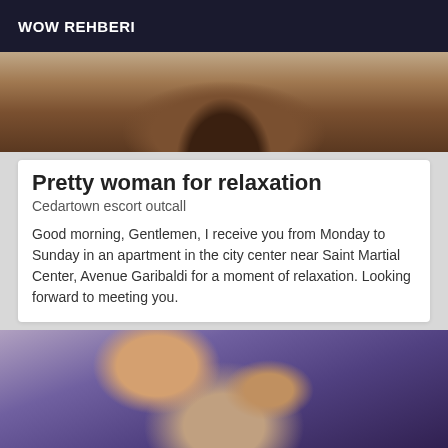WOW REHBERI
[Figure (photo): Cropped photo of a person's torso and legs with brown skin against a light background]
Pretty woman for relaxation
Cedartown escort outcall
Good morning, Gentlemen, I receive you from Monday to Sunday in an apartment in the city center near Saint Martial Center, Avenue Garibaldi for a moment of relaxation. Looking forward to meeting you.
[Figure (photo): Blurred close-up photo with purple/dark tones showing a person]